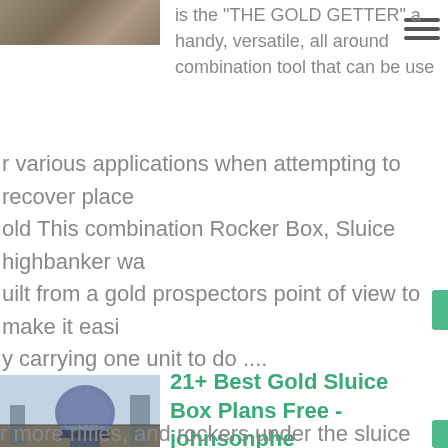[Figure (photo): Partial image of a gold mining site or rocky terrain at top left]
is the "THE GOLD GETTER" a handy, versatile, all around combination tool that can be used for various applications when attempting to recover place gold This combination Rocker Box, Sluice highbanker was built from a gold prospectors point of view to make it easy carrying one unit to do ....
[Figure (photo): Industrial mining equipment - large spherical machine/separator on a base with structures in background]
21+ Best Gold Sluice Box Plans Free - johnsonphe
Search For Gold Sluice Box Plans Free Gold Sluice Box Plans Free Rocker Box Short sluice with two more riffles, and rockers under the sluice The bottom d...